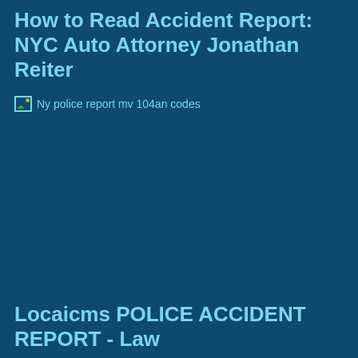How to Read Accident Report: NYC Auto Attorney Jonathan Reiter
[Figure (photo): Broken image placeholder for 'Ny police report mv 104an codes']
Locaicms POLICE ACCIDENT REPORT - Law